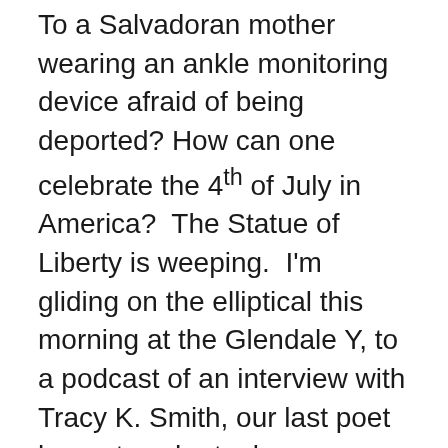To a Salvadoran mother wearing an ankle monitoring device afraid of being deported? How can one celebrate the 4th of July in America?  The Statue of Liberty is weeping.  I'm gliding on the elliptical this morning at the Glendale Y, to a podcast of an interview with Tracy K. Smith, our last poet laureate, who took  poems on the road, reading to rural communities in America, testing her theory that poetry can break down the divide between us, a black poet from the east reading poems about the Civil War in South Dakota, at a womens prison in Maine. Why, she wonders, when reading aloud a powerful Joy Harjo poem at the Alaska Veterans and Pioneers home, in Palmer, Alaska, do more of the residents not respond? Ask questions as others have at other community centers, libraries across the country. She hears just a few quiet moans from the audience. Then learns later, that those